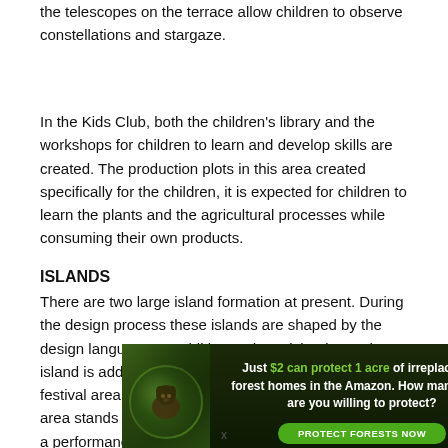the telescopes on the terrace allow children to observe constellations and stargaze.
In the Kids Club, both the children's library and the workshops for children to learn and develop skills are created. The production plots in this area created specifically for the children, it is expected for children to learn the plants and the agricultural processes while consuming their own products.
ISLANDS
There are two large island formation at present. During the design process these islands are shaped by the design language. In addition to those islands another island is added to the zone near the activities and the festival area. The island added to the activity and festival area stands out with its natural features while serving as a performance area for concerts when needed.
The island at the center of the project area is an activity island that connects two sides of the river with pedestrian bridges. The bridges that provide pedestrian and bicycle access are also considered as green bridges that
[Figure (infographic): Advertisement banner: dark green background with forest/animal imagery on left. Text reads: 'Just $2 can protect 1 acre of irreplaceable forest homes in the Amazon. How many acres are you willing to protect?' with a green 'PROTECT FORESTS NOW' button.]
x